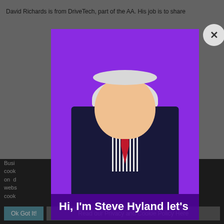David Richards is from DriveTech, part of the AA. His job is to share
[Figure (screenshot): A modal dialog overlay on a webpage. The modal has a bright purple background showing a man with white hair wearing a dark suit, striped shirt, and red tie. A circular close button (X) appears in the top right corner of the modal. Below the video thumbnail is the caption text 'Hi, I'm Steve Hyland let's'. The background page is grayed out showing partial text about business and cookies. At the bottom is a dark cookie consent bar with 'Ok Got It!' and 'Read our Privacy and Cookie Policy Here' buttons.]
Business info...cookies on websites cook...
Hi, I'm Steve Hyland let's
Ok Got It!
Read our Privacy and Cookie Policy Here